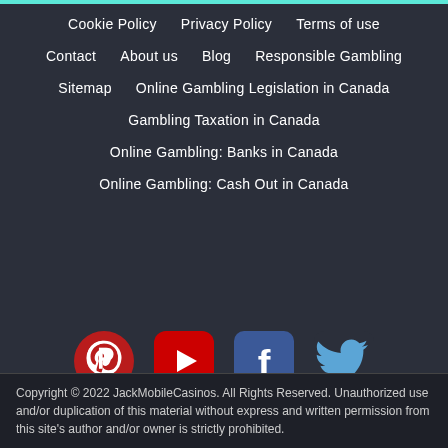Cookie Policy
Privacy Policy
Terms of use
Contact
About us
Blog
Responsible Gambling
Sitemap
Online Gambling Legislation in Canada
Gambling Taxation in Canada
Online Gambling: Banks in Canada
Online Gambling: Cash Out in Canada
[Figure (logo): Social media icons: Pinterest, YouTube, Facebook, Twitter]
Copyright © 2022 JackMobileCasinos. All Rights Reserved. Unauthorized use and/or duplication of this material without express and written permission from this site's author and/or owner is strictly prohibited.